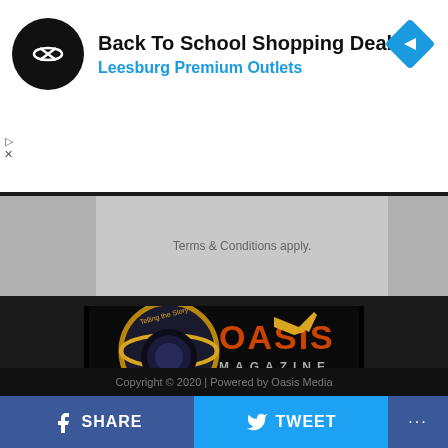[Figure (screenshot): Advertisement banner for Back To School Shopping Deals at Leesburg Premium Outlets with a circular logo and blue arrow icon]
Terms & Conditions apply.
[Figure (logo): Oasis Magazine logo on dark background with golden globe and trumpet imagery]
HOME  ABOUT US  ADVERTISE  CONTACT US  DISCLAIMER
DESIGNED BY EJES GIST MEDIA
Copyright © 2020 | Powered by Oasis Media
SHARE
TWEET